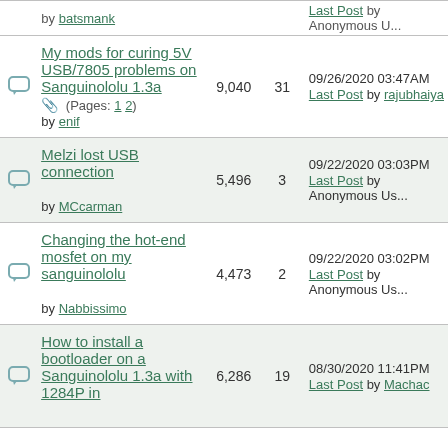|  | Thread Title | Views | Replies | Last Post |
| --- | --- | --- | --- | --- |
| [icon] | by batsmank |  |  | Last Post by Anonymous ... |
| [icon] | My mods for curing 5V USB/7805 problems on Sanguinololu 1.3a (Pages: 1 2) by enif | 9,040 | 31 | 09/26/2020 03:47AM Last Post by rajubhaiya |
| [icon] | Melzi lost USB connection by MCcarman | 5,496 | 3 | 09/22/2020 03:03PM Last Post by Anonymous Us... |
| [icon] | Changing the hot-end mosfet on my sanguinololu by Nabbissimo | 4,473 | 2 | 09/22/2020 03:02PM Last Post by Anonymous Us... |
| [icon] | How to install a bootloader on a Sanguinololu 1.3a with 1284P in... | 6,286 | 19 | 08/30/2020 11:41PM Last Post by Machac |